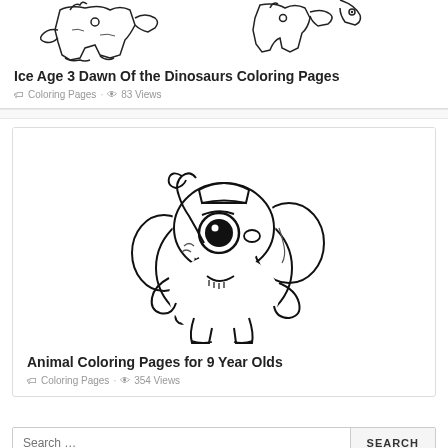[Figure (illustration): Coloring page thumbnail showing Ice Age dinosaur characters - line art]
Ice Age 3 Dawn Of the Dinosaurs Coloring Pages
Coloring Pages · 83 Views
[Figure (illustration): Coloring page thumbnail showing a cute cartoon baby elephant with big eyes - line art]
Animal Coloring Pages for 9 Year Olds
Coloring Pages · 354 Views
Search …
Recents Posts